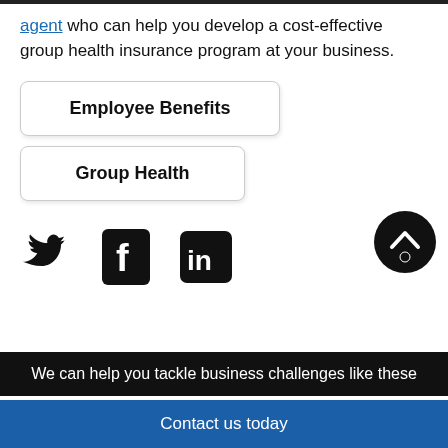agent who can help you develop a cost-effective group health insurance program at your business.
Employee Benefits
Group Health
[Figure (infographic): Social media icons row: Twitter bird icon, Facebook 'f' icon, LinkedIn 'in' icon, and a scroll-to-top button (black circle with upward chevron)]
We can help you tackle business challenges like these
Contact us today